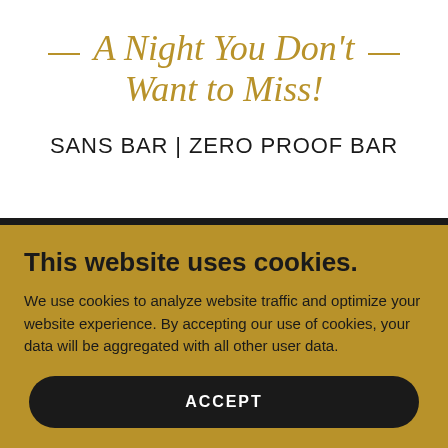A Night You Don't Want to Miss!
SANS BAR | ZERO PROOF BAR
This website uses cookies.
We use cookies to analyze website traffic and optimize your website experience. By accepting our use of cookies, your data will be aggregated with all other user data.
ACCEPT